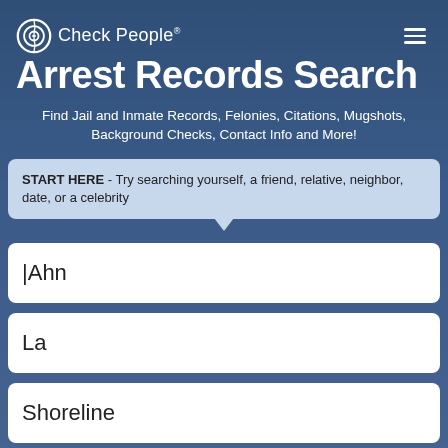[Figure (screenshot): CheckPeople website screenshot showing Arrest Records Search page with logo, hamburger menu, title, subtitle, tooltip, and search form fields]
CheckPeople® Arrest Records Search
Find Jail and Inmate Records, Felonies, Citations, Mugshots, Background Checks, Contact Info and More!
START HERE - Try searching yourself, a friend, relative, neighbor, date, or a celebrity
Ahn
La
Shoreline
All States